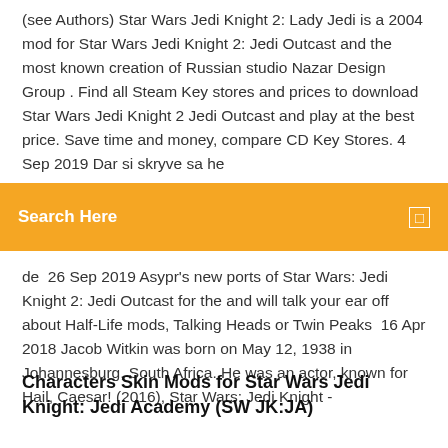(see Authors)  Star Wars Jedi Knight 2: Lady Jedi is a 2004 mod for Star Wars Jedi Knight 2: Jedi Outcast and the most known creation of Russian studio Nazar Design Group . Find all Steam Key stores and prices to download Star Wars Jedi Knight 2 Jedi Outcast and play at the best price. Save time and money, compare CD Key Stores. 4 Sep 2019 Dar si skryve sa he
Search Here
de  26 Sep 2019 Asypr's new ports of Star Wars: Jedi Knight 2: Jedi Outcast for the and will talk your ear off about Half-Life mods, Talking Heads or Twin Peaks  16 Apr 2018 Jacob Witkin was born on May 12, 1938 in Johannesburg, South Africa. He was an actor, known for Hail, Caesar! (2016), Star Wars: Jedi Knight -
Characters Skin Mods for Star Wars Jedi Knight: Jedi Academy (SW JK:JA)